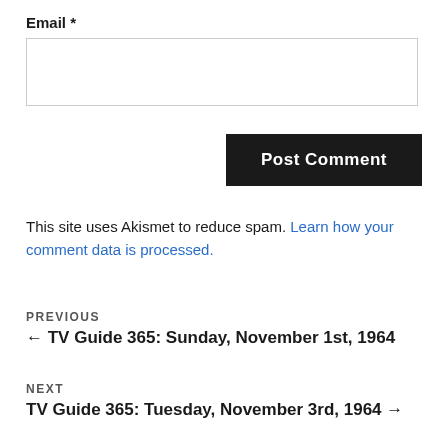Email *
Post Comment
This site uses Akismet to reduce spam. Learn how your comment data is processed.
PREVIOUS
← TV Guide 365: Sunday, November 1st, 1964
NEXT
TV Guide 365: Tuesday, November 3rd, 1964 →